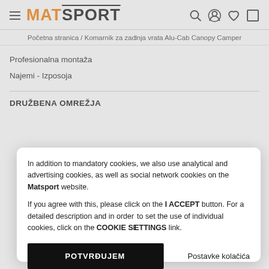MATSPORT
Početna stranica / Komarnik za zadnja vrata Alu-Cab Canopy Camper
Profesionalna montaža
Najemi - Izposoja
DRUŽBENA OMREŽJA
In addition to mandatory cookies, we also use analytical and advertising cookies, as well as social network cookies on the Matsport website.
If you agree with this, please click on the I ACCEPT button. For a detailed description and in order to set the use of individual cookies, click on the COOKIE SETTINGS link.
POTVRĐUJEM
Postavke kolačića